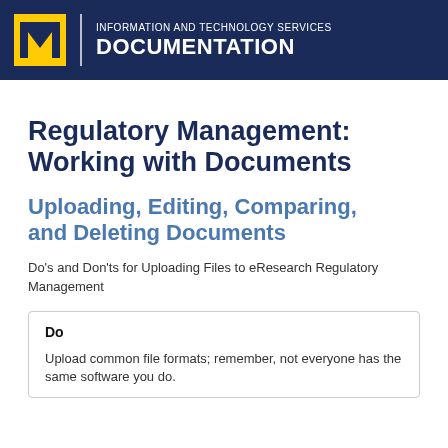INFORMATION AND TECHNOLOGY SERVICES DOCUMENTATION
Regulatory Management: Working with Documents
Uploading, Editing, Comparing, and Deleting Documents
Do's and Don'ts for Uploading Files to eResearch Regulatory Management
Do

Upload common file formats; remember, not everyone has the same software you do.